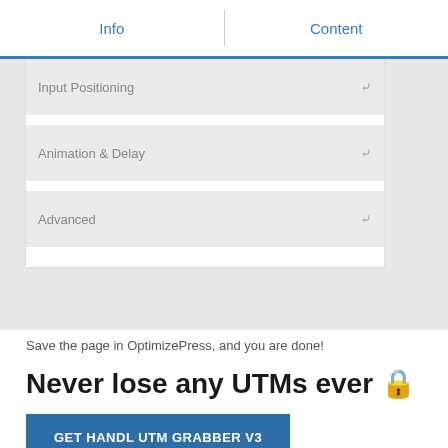Info | Content
Input Positioning
Animation & Delay
Advanced
Save the page in OptimizePress, and you are done!
Never lose any UTMs ever 🔒
GET HANDL UTM GRABBER V3